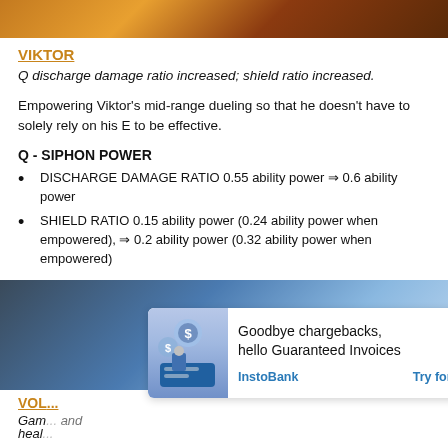[Figure (photo): Top banner image showing a League of Legends character with fire/orange tones]
VIKTOR
Q discharge damage ratio increased; shield ratio increased.
Empowering Viktor's mid-range dueling so that he doesn't have to solely rely on his E to be effective.
Q - SIPHON POWER
DISCHARGE DAMAGE RATIO 0.55 ability power ⇒ 0.6 ability power
SHIELD RATIO 0.15 ability power (0.24 ability power when empowered), ⇒ 0.2 ability power (0.32 ability power when empowered)
[Figure (photo): Bottom banner image showing a blue/icy League of Legends character with an advertisement overlay for InstoBank Guaranteed Invoices]
VOL...
Gam... and heal...